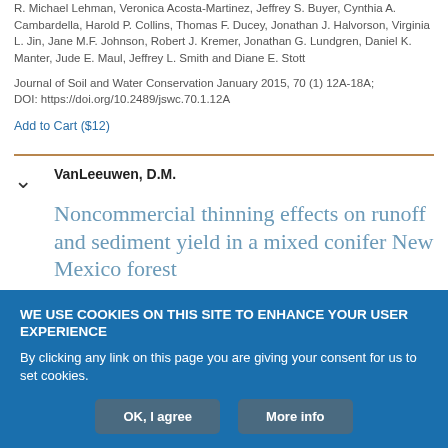R. Michael Lehman, Veronica Acosta-Martinez, Jeffrey S. Buyer, Cynthia A. Cambardella, Harold P. Collins, Thomas F. Ducey, Jonathan J. Halvorson, Virginia L. Jin, Jane M.F. Johnson, Robert J. Kremer, Jonathan G. Lundgren, Daniel K. Manter, Jude E. Maul, Jeffrey L. Smith and Diane E. Stott
Journal of Soil and Water Conservation January 2015, 70 (1) 12A-18A; DOI: https://doi.org/10.2489/jswc.70.1.12A
Add to Cart ($12)
VanLeeuwen, D.M.
Noncommercial thinning effects on runoff and sediment yield in a mixed conifer New Mexico forest
WE USE COOKIES ON THIS SITE TO ENHANCE YOUR USER EXPERIENCE
By clicking any link on this page you are giving your consent for us to set cookies.
OK, I agree
More info